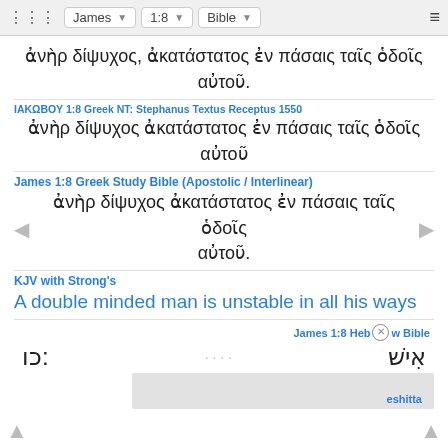James 1:8 Bible
ἀνὴρ δίψυχος, ἀκατάστατος ἐν πάσαις ταῖς ὁδοῖς αὐτοῦ.
ΙΑΚΩΒΟΥ 1:8 Greek NT: Stephanus Textus Receptus 1550
ἀνὴρ δίψυχος ἀκατάστατος ἐν πάσαις ταῖς ὁδοῖς αὐτοῦ
James 1:8 Greek Study Bible (Apostolic / Interlinear)
ἀνὴρ δίψυχος ἀκατάστατος ἐν πάσαις ταῖς ὁδοῖς αὐτοῦ.
KJV with Strong's
A double minded man is unstable in all his ways
James 1:8 Hebrew Bible
איש :כו